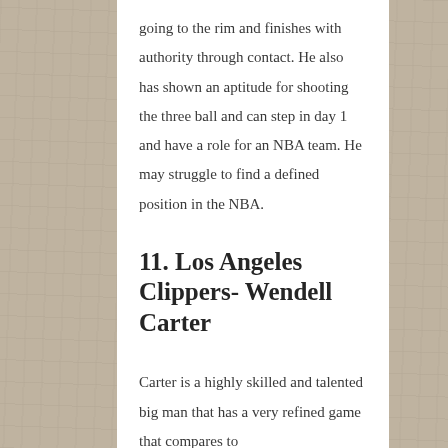going to the rim and finishes with authority through contact. He also has shown an aptitude for shooting the three ball and can step in day 1 and have a role for an NBA team. He may struggle to find a defined position in the NBA.
11. Los Angeles Clippers- Wendell Carter
Carter is a highly skilled and talented big man that has a very refined game that compares to